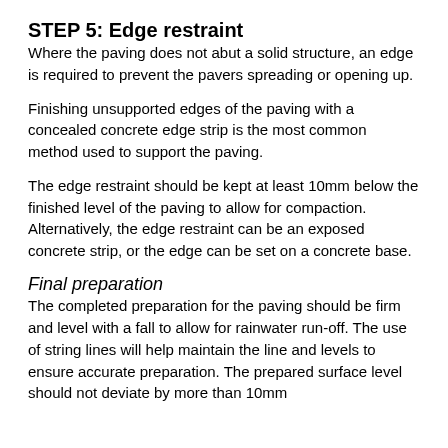STEP 5: Edge restraint
Where the paving does not abut a solid structure, an edge is required to prevent the pavers spreading or opening up.
Finishing unsupported edges of the paving with a concealed concrete edge strip is the most common method used to support the paving.
The edge restraint should be kept at least 10mm below the finished level of the paving to allow for compaction. Alternatively, the edge restraint can be an exposed concrete strip, or the edge can be set on a concrete base.
Final preparation
The completed preparation for the paving should be firm and level with a fall to allow for rainwater run-off. The use of string lines will help maintain the line and levels to ensure accurate preparation. The prepared surface level should not deviate by more than 10mm